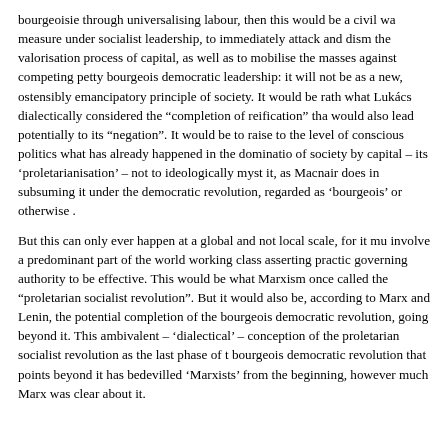bourgeoisie through universalising labour, then this would be a civil war measure under socialist leadership, to immediately attack and dismantle the valorisation process of capital, as well as to mobilise the masses against competing petty bourgeois democratic leadership: it will not be as a new, ostensibly emancipatory principle of society. It would be rather what Lukács dialectically considered the "completion of reification" that would also lead potentially to its "negation". It would be to raise to the level of conscious politics what has already happened in the domination of society by capital – its 'proletarianisation' – not to ideologically mystify it, as Macnair does in subsuming it under the democratic revolution, regarded as 'bourgeois' or otherwise .
But this can only ever happen at a global and not local scale, for it must involve a predominant part of the world working class asserting practical governing authority to be effective. This would be what Marxism once called the "proletarian socialist revolution". But it would also be, according to Marx and Lenin, the potential completion of the bourgeois democratic revolution, going beyond it. This ambivalent – 'dialectical' – conception of the proletarian socialist revolution as the last phase of the bourgeois democratic revolution that points beyond it has bedevilled 'Marxists' from the beginning, however much Marx was clear about it.